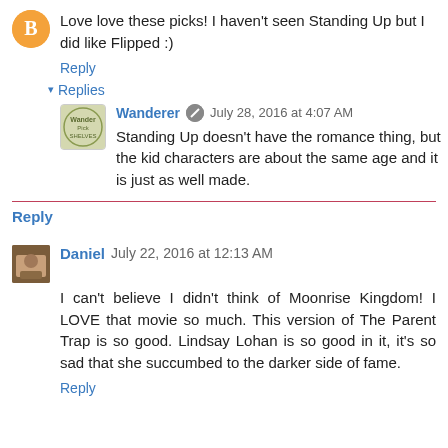Love love these picks! I haven't seen Standing Up but I did like Flipped :)
Reply
▾ Replies
Wanderer  July 28, 2016 at 4:07 AM
Standing Up doesn't have the romance thing, but the kid characters are about the same age and it is just as well made.
Reply
Daniel  July 22, 2016 at 12:13 AM
I can't believe I didn't think of Moonrise Kingdom! I LOVE that movie so much. This version of The Parent Trap is so good. Lindsay Lohan is so good in it, it's so sad that she succumbed to the darker side of fame.
Reply